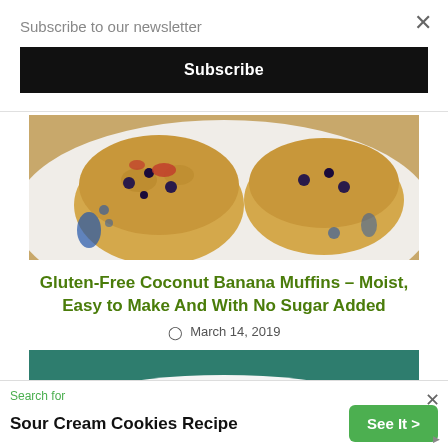Subscribe to our newsletter
Subscribe
[Figure (photo): Close-up photo of blueberry muffins on a plate with blue floral pattern]
Gluten-Free Coconut Banana Muffins – Moist, Easy to Make And With No Sugar Added
March 14, 2019
[Figure (photo): Partial photo of a green food item on a white plate against dark teal background]
Search for
Sour Cream Cookies Recipe
See It >